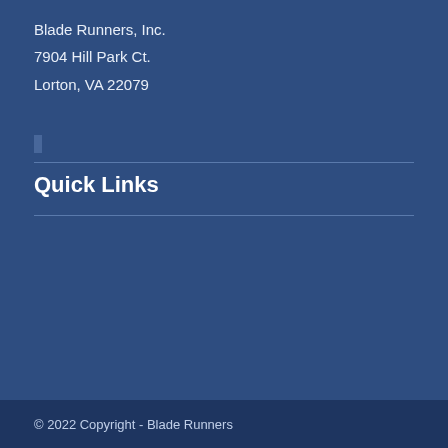Blade Runners, Inc.
7904 Hill Park Ct.
Lorton, VA 22079
Quick Links
© 2022 Copyright - Blade Runners